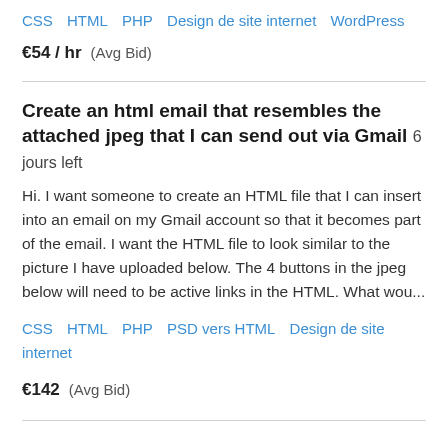CSS   HTML   PHP   Design de site internet   WordPress
€54 / hr   (Avg Bid)
Create an html email that resembles the attached jpeg that I can send out via Gmail   6 jours left
Hi. I want someone to create an HTML file that I can insert into an email on my Gmail account so that it becomes part of the email. I want the HTML file to look similar to the picture I have uploaded below. The 4 buttons in the jpeg below will need to be active links in the HTML. What wou...
CSS   HTML   PHP   PSD vers HTML   Design de site internet
€142   (Avg Bid)
Garage extension   6 jours left
Currently 6m x 6m steel garage using Stramit components